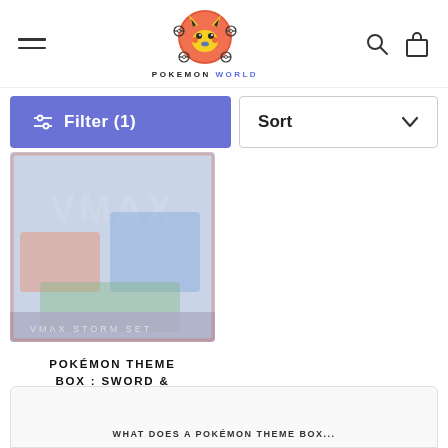[Figure (logo): Pokemon World logo — Pikachu character inside a red/orange circle with Pokéballs, above the text POKEMON WORLD in bold with WORLD in blue]
[Figure (screenshot): Filter (1) button in purple/indigo on the left and Sort dropdown on the right]
[Figure (photo): Pokémon Theme Box: Sword & Shield VMAX product image — colorful card box art, slightly faded/muted]
POKÉMON THEME BOX : SWORD & SHIELD VMAX
£76.40
WHAT DOES A POKÉMON THEME BOX...